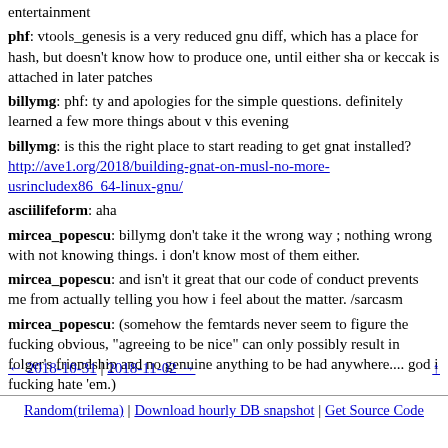entertainment
phf: vtools_genesis is a very reduced gnu diff, which has a place for hash, but doesn't know how to produce one, until either sha or keccak is attached in later patches
billymg: phf: ty and apologies for the simple questions. definitely learned a few more things about v this evening
billymg: is this the right place to start reading to get gnat installed? http://ave1.org/2018/building-gnat-on-musl-no-more-usrincludex86_64-linux-gnu/
asciilifeform: aha
mircea_popescu: billymg don't take it the wrong way ; nothing wrong with not knowing things. i don't know most of them either.
mircea_popescu: and isn't it great that our code of conduct prevents me from actually telling you how i feel about the matter. /sarcasm
mircea_popescu: (somehow the femtards never seem to figure the fucking obvious, "agreeing to be nice" can only possibly result in folger's friendship and no genuine anything to be had anywhere.... god i fucking hate 'em.)
← 2018-10-31 | 2018-11-02 → ↑
Random(trilema) | Download hourly DB snapshot | Get Source Code